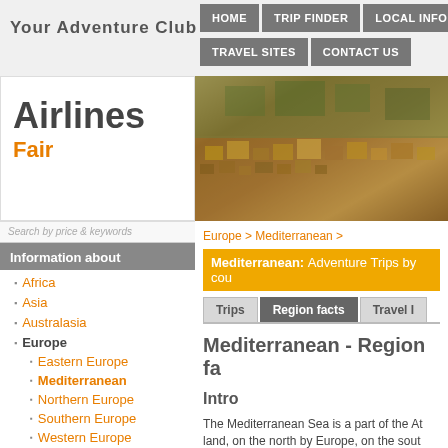Your Adventure Club
HOME | TRIP FINDER | LOCAL INFO | Membe... | TRAVEL SITES | CONTACT US
Airlines Fair
[Figure (photo): Aerial photo of Mediterranean hillside village with densely packed buildings]
Search by price & keywords
Information about
Africa
Asia
Australasia
Europe
Eastern Europe
Mediterranean
Northern Europe
Southern Europe
Western Europe
North America
South America
Europe > Mediterranean >
Mediterranean: Adventure Trips by cou...
Trips | Region facts | Travel I...
Mediterranean - Region fa...
Intro
The Mediterranean Sea is a part of the At... land, on the north by Europe, on the sout... an approximate area of 2.5 million km (9... Mediterranean Sea or the European Med... distinguish it from other mediterranean se...